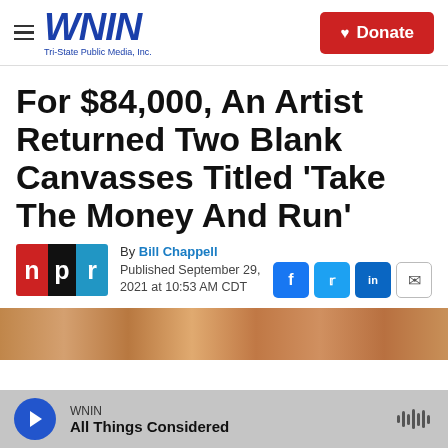WNIN Tri-State Public Media, Inc. | Donate
For $84,000, An Artist Returned Two Blank Canvasses Titled 'Take The Money And Run'
By Bill Chappell
Published September 29, 2021 at 10:53 AM CDT
[Figure (logo): NPR logo with three colored blocks: red N, black P, blue R]
[Figure (photo): Partial view of artwork or framed piece, brown/orange tones]
WNIN
All Things Considered